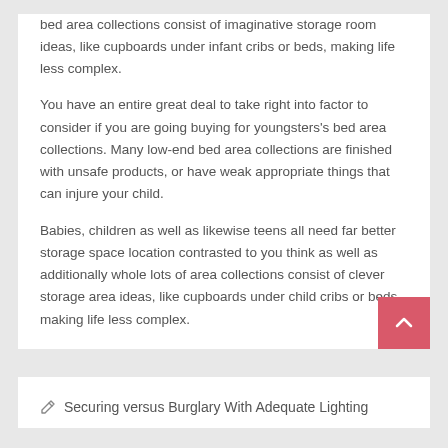bed area collections consist of imaginative storage room ideas, like cupboards under infant cribs or beds, making life less complex.
You have an entire great deal to take right into factor to consider if you are going buying for youngsters's bed area collections. Many low-end bed area collections are finished with unsafe products, or have weak appropriate things that can injure your child.
Babies, children as well as likewise teens all need far better storage space location contrasted to you think as well as additionally whole lots of area collections consist of clever storage area ideas, like cupboards under child cribs or beds, making life less complex.
Securing versus Burglary With Adequate Lighting